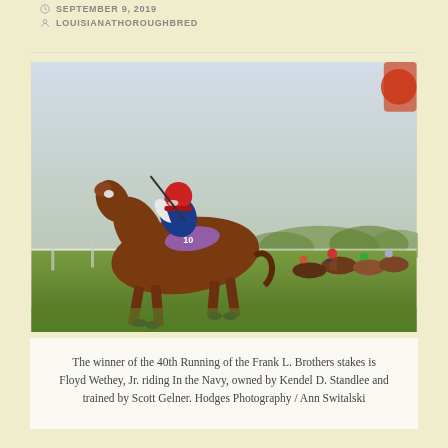SEPTEMBER 9, 2019
LOUISIANATHOROUGHBRED
[Figure (photo): Horse race photo showing the winner of the 40th Running of the Frank L. Brothers stakes, jockey in red helmet and blue/white silks riding In the Navy, with a field of horses behind on a grass track.]
The winner of the 40th Running of the Frank L. Brothers stakes is Floyd Wethey, Jr. riding In the Navy, owned by Kendel D. Standlee and trained by Scott Gelner. Hodges Photography / Ann Switalski